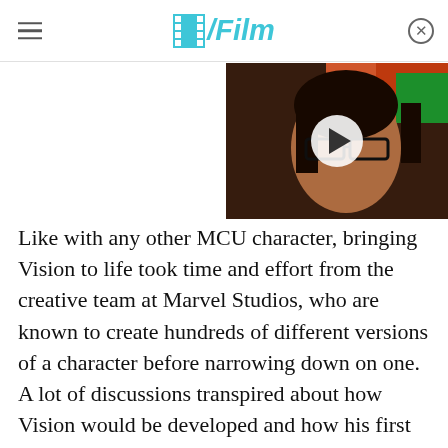/Film
[Figure (photo): Video thumbnail showing a man with dark hair and glasses looking surprised or concerned, with a play button overlay. Colorful background visible.]
Like with any other MCU character, bringing Vision to life took time and effort from the creative team at Marvel Studios, who are known to create hundreds of different versions of a character before narrowing down on one. A lot of discussions transpired about how Vision would be developed and how his first appearance in "Age of Ultron" could be conceived. Joss Whedon, who was at the helm for the film, decided he wanted to see more of Vision ... and not in the best way possible.